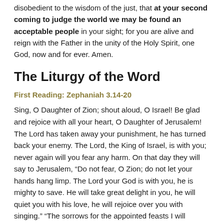disobedient to the wisdom of the just, that at your second coming to judge the world we may be found an acceptable people in your sight; for you are alive and reign with the Father in the unity of the Holy Spirit, one God, now and for ever. Amen.
The Liturgy of the Word
First Reading: Zephaniah 3.14-20
Sing, O Daughter of Zion; shout aloud, O Israel! Be glad and rejoice with all your heart, O Daughter of Jerusalem! The Lord has taken away your punishment, he has turned back your enemy. The Lord, the King of Israel, is with you; never again will you fear any harm. On that day they will say to Jerusalem, “Do not fear, O Zion; do not let your hands hang limp. The Lord your God is with you, he is mighty to save. He will take great delight in you, he will quiet you with his love, he will rejoice over you with singing.” “The sorrows for the appointed feasts I will remove from you; they are a burden and a reproach to you. At that time I will deal with all who oppressed you; I will rescue the lame and gather those who have been scattered. I will give them praise and honour in every land where they were put to shame. At that time I will gather you; at that time I will bring you home. I will give you honour and praise among all the peoples of the earth when I